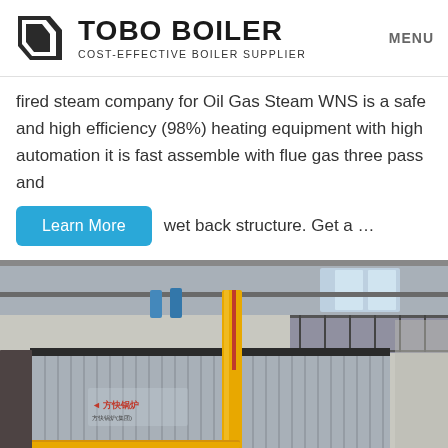TOBO BOILER — COST-EFFECTIVE BOILER SUPPLIER | MENU
fired steam company for Oil Gas Steam WNS is a safe and high efficiency (98%) heating equipment with high automation it is fast assemble with flue gas three pass and wet back structure. Get a …
[Figure (photo): Industrial boiler unit with corrugated metal casing and yellow gas piping, photographed inside a large industrial facility.]